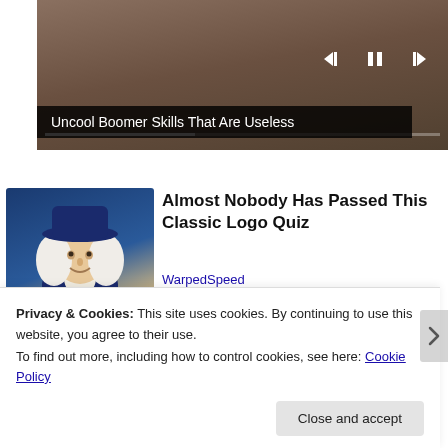[Figure (screenshot): Video player showing a person in a workshop/sewing setting, with playback controls (skip back, pause, skip forward) and a progress bar. Title overlay reads 'Uncool Boomer Skills That Are Useless'.]
Uncool Boomer Skills That Are Useless
[Figure (illustration): Thumbnail image of a Quaker/colonial-style figure (man in blue coat and white wig with large hat) representing a classic logo quiz.]
Almost Nobody Has Passed This Classic Logo Quiz
WarpedSpeed
Privacy & Cookies: This site uses cookies. By continuing to use this website, you agree to their use.
To find out more, including how to control cookies, see here: Cookie Policy
Close and accept